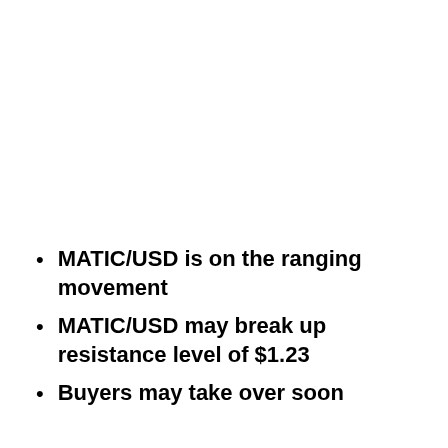MATIC/USD is on the ranging movement
MATIC/USD may break up resistance level of $1.23
Buyers may take over soon